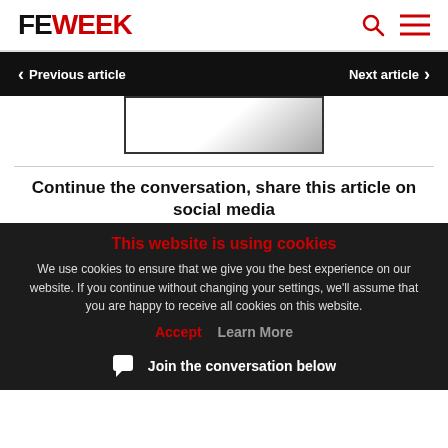FE WEEK
Previous article
Next article
[Figure (photo): Partially visible image box with dark gradient background]
Continue the conversation, share this article on social media
This website is using cookies
We use cookies to ensure that we give you the best experience on our website. If you continue without changing your settings, we'll assume that you are happy to receive all cookies on this website.
Accept   Learn More
Join the conversation below